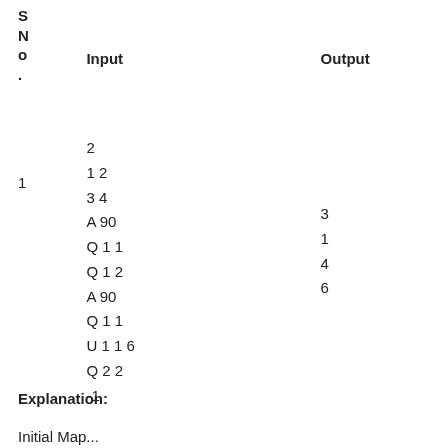| S No. | Input | Output |
| --- | --- | --- |
| 1 | 2
1 2
3 4
A 90
Q 1 1
Q 1 2
A 90
Q 1 1
U 1 1 6
Q 2 2
-1 | 3
1
4
6 |
Explanation:
Initial Map...